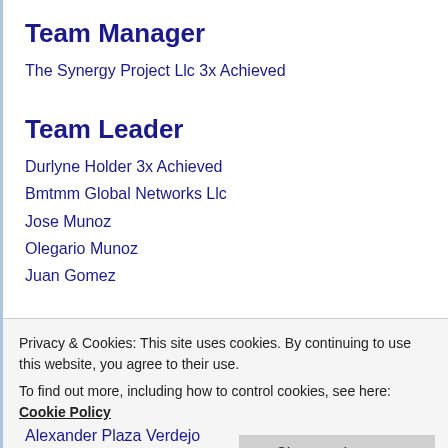Team Manager
The Synergy Project Llc 3x Achieved
Team Leader
Durlyne Holder 3x Achieved
Bmtmm Global Networks Llc
Jose Munoz
Olegario Munoz
Juan Gomez
Gold
Privacy & Cookies: This site uses cookies. By continuing to use this website, you agree to their use.
To find out more, including how to control cookies, see here: Cookie Policy
Close and accept
Alexander Plaza Verdejo